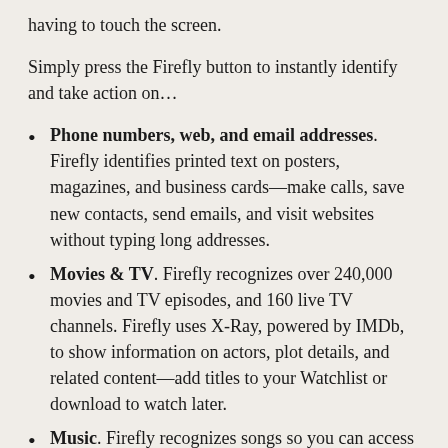having to touch the screen.
Simply press the Firefly button to instantly identify and take action on…
Phone numbers, web, and email addresses. Firefly identifies printed text on posters, magazines, and business cards—make calls, save new contacts, send emails, and visit websites without typing long addresses.
Movies & TV. Firefly recognizes over 240,000 movies and TV episodes, and 160 live TV channels. Firefly uses X-Ray, powered by IMDb, to show information on actors, plot details, and related content—add titles to your Watchlist or download to watch later.
Music. Firefly recognizes songs so you can access artist information, play related songs, download albums direct to your Fire phone, or add them to…